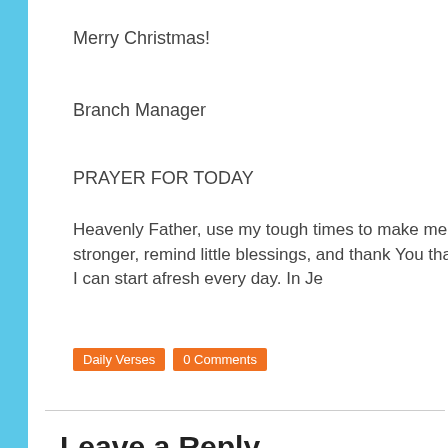Merry Christmas!
Branch Manager
PRAYER FOR TODAY
Heavenly Father, use my tough times to make me stronger, remind little blessings, and thank You that I can start afresh every day. In Je
Daily Verses
0 Comments
Leave a Reply
NAME (REQUIRED)
MAIL (WILL NOT BE PUBLISHED) (REQUIRED)
WEBSITE